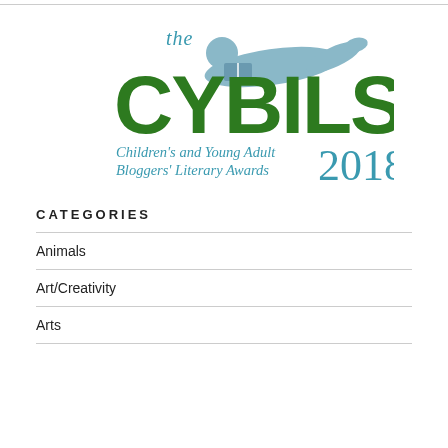[Figure (logo): The CYBILS 2018 logo — Children's and Young Adult Bloggers' Literary Awards. Large green bold text 'CYBILS' with a light blue silhouette of a child reading lying down, and 'the' in blue script above. Tagline in teal italic script: Children's and Young Adult Bloggers' Literary Awards, with '2018' in large teal numerals.]
CATEGORIES
Animals
Art/Creativity
Arts